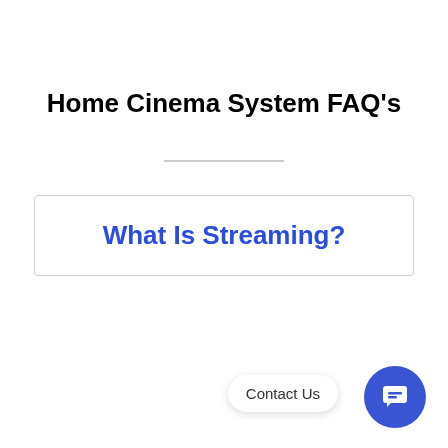Home Cinema System FAQ's
What Is Streaming?
[Figure (other): Contact Us chat button widget in bottom right corner with label 'Contact Us' and a blue circular chat icon]